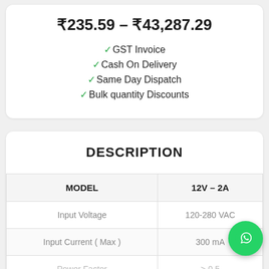₹235.59 – ₹43,287.29
✓GST Invoice
✓Cash On Delivery
✓Same Day Dispatch
✓Bulk quantity Discounts
DESCRIPTION
| MODEL | 12V – 2A |
| --- | --- |
| Input Voltage | 120-280 VAC |
| Input Current ( Max ) | 300 mA |
| Power Factor | > 0.5 |